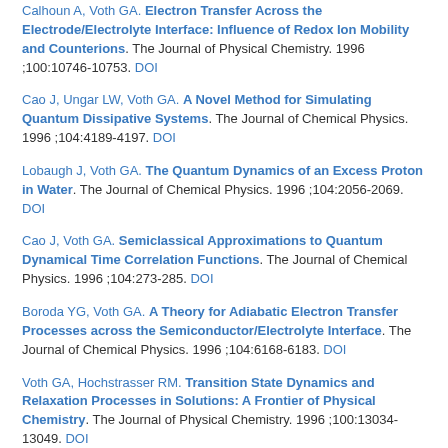Calhoun A, Voth GA. Electron Transfer Across the Electrode/Electrolyte Interface: Influence of Redox Ion Mobility and Counterions. The Journal of Physical Chemistry. 1996 ;100:10746-10753. DOI
Cao J, Ungar LW, Voth GA. A Novel Method for Simulating Quantum Dissipative Systems. The Journal of Chemical Physics. 1996 ;104:4189-4197. DOI
Lobaugh J, Voth GA. The Quantum Dynamics of an Excess Proton in Water. The Journal of Chemical Physics. 1996 ;104:2056-2069. DOI
Cao J, Voth GA. Semiclassical Approximations to Quantum Dynamical Time Correlation Functions. The Journal of Chemical Physics. 1996 ;104:273-285. DOI
Boroda YG, Voth GA. A Theory for Adiabatic Electron Transfer Processes across the Semiconductor/Electrolyte Interface. The Journal of Chemical Physics. 1996 ;104:6168-6183. DOI
Voth GA, Hochstrasser RM. Transition State Dynamics and Relaxation Processes in Solutions: A Frontier of Physical Chemistry. The Journal of Physical Chemistry. 1996 ;100:13034-13049. DOI
Cao J, Voth GA. A Unified Framework for Quantum Activated Rate Processes. I. General Theory. The Journal of Chemical Physics. 1996 ;105:6856-6870. DOI